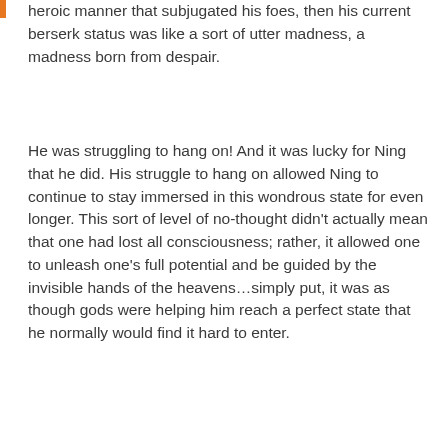heroic manner that subjugated his foes, then his current berserk status was like a sort of utter madness, a madness born from despair.
He was struggling to hang on! And it was lucky for Ning that he did. His struggle to hang on allowed Ning to continue to stay immersed in this wondrous state for even longer. This sort of level of no-thought didn't actually mean that one had lost all consciousness; rather, it allowed one to unleash one's full potential and be guided by the invisible hands of the heavens…simply put, it was as though gods were helping him reach a perfect state that he normally would find it hard to enter.